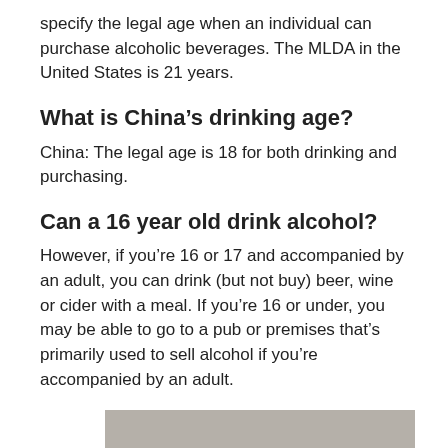specify the legal age when an individual can purchase alcoholic beverages. The MLDA in the United States is 21 years.
What is China's drinking age?
China: The legal age is 18 for both drinking and purchasing.
Can a 16 year old drink alcohol?
However, if you're 16 or 17 and accompanied by an adult, you can drink (but not buy) beer, wine or cider with a meal. If you're 16 or under, you may be able to go to a pub or premises that's primarily used to sell alcohol if you're accompanied by an adult.
[Figure (other): Gray advertisement or image placeholder block]